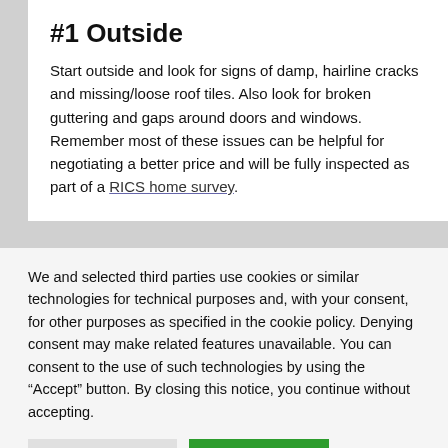#1 Outside
Start outside and look for signs of damp, hairline cracks and missing/loose roof tiles. Also look for broken guttering and gaps around doors and windows. Remember most of these issues can be helpful for negotiating a better price and will be fully inspected as part of a RICS home survey.
We and selected third parties use cookies or similar technologies for technical purposes and, with your consent, for other purposes as specified in the cookie policy. Denying consent may make related features unavailable. You can consent to the use of such technologies by using the “Accept” button. By closing this notice, you continue without accepting.